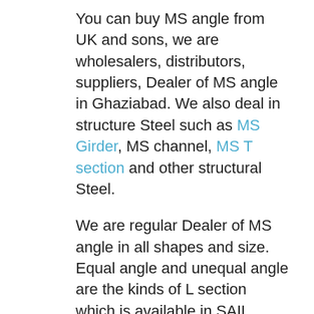You can buy MS angle from UK and sons, we are wholesalers, distributors, suppliers, Dealer of MS angle in Ghaziabad. We also deal in structure Steel such as MS Girder, MS channel, MS T section and other structural Steel.
We are regular Dealer of MS angle in all shapes and size. Equal angle and unequal angle are the kinds of L section which is available in SAIL, Jindal, Tata, Vizag and also secondary market products.
Equal angle are those angle which has uniform and equal section at both ends. Unequal angle are those angle which has different...